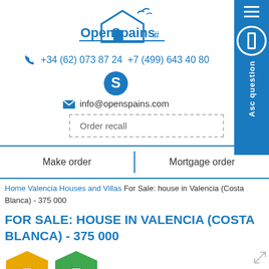[Figure (logo): OpenSpains logo with house and birds icon, blue text]
+34 (62) 073 87 24  +7 (499) 643 40 80
[Figure (logo): Skype icon]
info@openspains.com
Order recall
Make order
Mortgage order
Home Valencia Houses and Villas For Sale: house in Valencia (Costa Blanca) - 375 000
FOR SALE: HOUSE IN VALENCIA (COSTA BLANCA) - 375 000
[Figure (illustration): Two house icons — yellow/orange and green — at bottom of page]